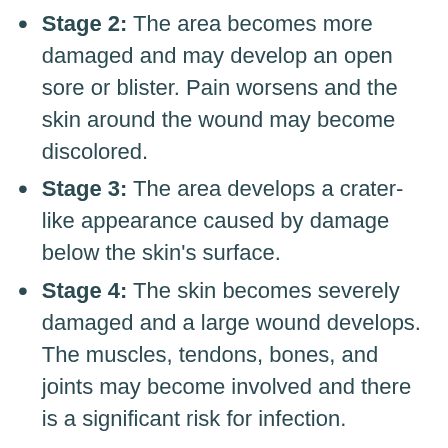Stage 2: The area becomes more damaged and may develop an open sore or blister. Pain worsens and the skin around the wound may become discolored.
Stage 3: The area develops a crater-like appearance caused by damage below the skin's surface.
Stage 4: The skin becomes severely damaged and a large wound develops. The muscles, tendons, bones, and joints may become involved and there is a significant risk for infection.